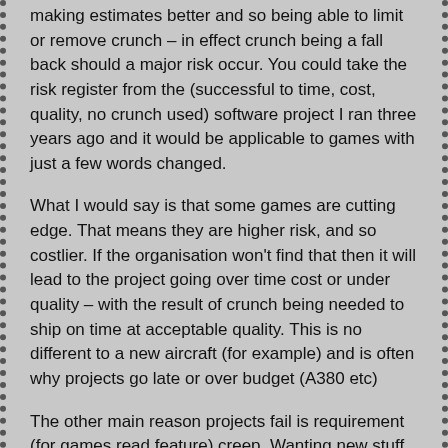making estimates better and so being able to limit or remove crunch – in effect crunch being a fall back should a major risk occur. You could take the risk register from the (successful to time, cost, quality, no crunch used) software project I ran three years ago and it would be applicable to games with just a few words changed.
What I would say is that some games are cutting edge. That means they are higher risk, and so costlier. If the organisation won't find that then it will lead to the project going over time cost or under quality – with the result of crunch being needed to ship on time at acceptable quality. This is no different to a new aircraft (for example) and is often why projects go late or over budget (A380 etc)
The other main reason projects fail is requirement (for games read feature) creep. Wanting new stuff not agreed at the project outset costs time and money and